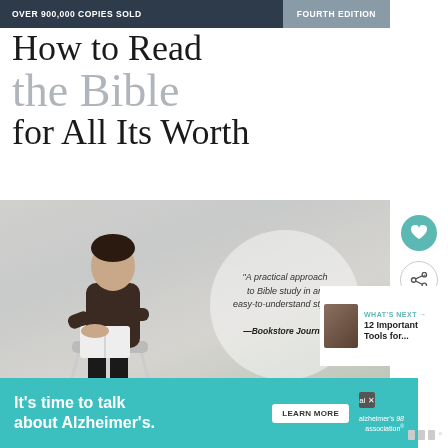OVER 900,000 COPIES SOLD | FOURTH EDITION
How to Read the Bible for All Its Worth
[Figure (photo): Book cover image showing a man sitting on a stool reading a book, with a circular quote overlay reading: 'A practical approach to Bible study in an easy-to-understand style.' —Bookstore Journal]
[Figure (illustration): Heart/favorite button (teal circle with heart icon) and share button (circle with share icon) on right sidebar]
WHAT'S NEXT → 12 Important Tools for...
It's time to talk about Alzheimer's. LEARN MORE